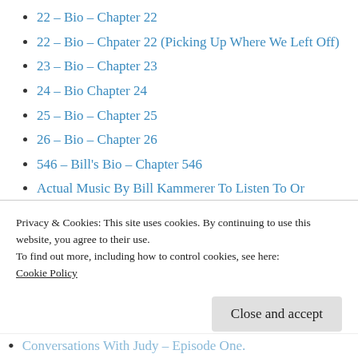22 – Bio – Chapter 22
22 – Bio – Chpater 22 (Picking Up Where We Left Off)
23 – Bio – Chapter 23
24 – Bio Chapter 24
25 – Bio – Chapter 25
26 – Bio – Chapter 26
546 – Bill's Bio – Chapter 546
Actual Music By Bill Kammerer To Listen To Or Download
Covers
Privacy & Cookies: This site uses cookies. By continuing to use this website, you agree to their use.
To find out more, including how to control cookies, see here:
Cookie Policy
Close and accept
Conversations With Judy – Episode One.